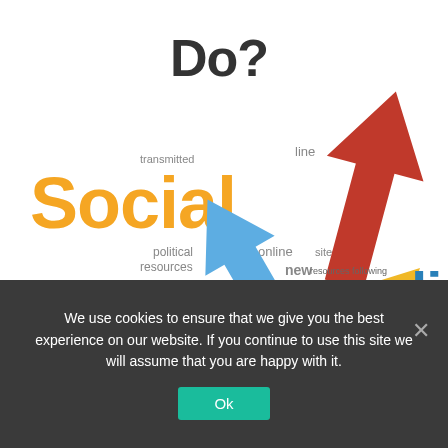Do?
[Figure (illustration): Social media concept illustration with colorful upward arrows (red, blue, gold) around a dollar sign, with word cloud text including 'Social', 'media', 'transmitted', 'line', 'interests', 'online', 'sites', 'political resources', 'new', 'resources', 'following', 'favorite', 'new']
We use cookies to ensure that we give you the best experience on our website. If you continue to use this site we will assume that you are happy with it.